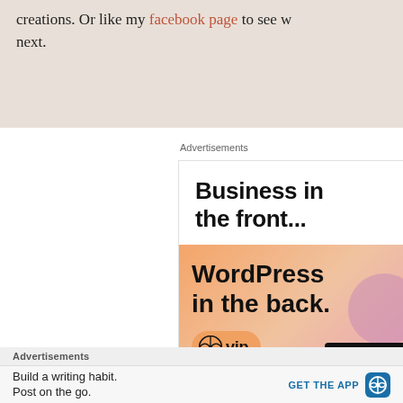creations. Or like my facebook page to see what I make next.
Advertisements
[Figure (screenshot): Advertisement banner: 'Business in the front... WordPress in the back.' with WordPress VIP logo and 'Learn more' button on orange gradient background.]
Advertisements
Build a writing habit. Post on the go.
GET THE APP